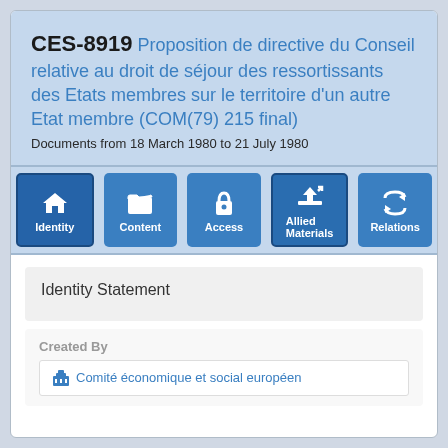CES-8919 Proposition de directive du Conseil relative au droit de séjour des ressortissants des Etats membres sur le territoire d'un autre Etat membre (COM(79) 215 final)
Documents from 18 March 1980 to 21 July 1980
[Figure (infographic): Navigation bar with 5 blue icon buttons: Identity (house icon), Content (folder icon), Access (lock icon), Allied Materials (upload/arrow icon), Relations (refresh arrows icon)]
Identity Statement
Created By
🏛 Comité économique et social européen